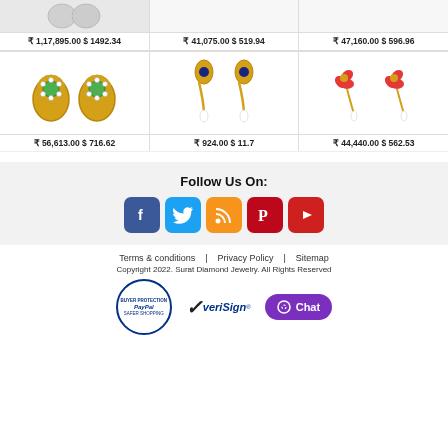[Figure (photo): Top row of jewelry product images (earrings/rings) partially visible at top]
₹1,17,895.00 $ 1492.34
₹41,075.00 $ 519.94
₹47,160.00 $ 596.96
[Figure (photo): Green gemstone ring pair with diamond halo in yellow gold]
[Figure (photo): Gold dangly earrings with blue sapphire and pearl drops]
[Figure (photo): Red/orange floral ear studs with pearl drops in yellow gold]
₹56,613.00 $ 716.62
₹924.00 $ 11.7
₹44,440.00 $ 562.53
Follow Us On:
[Figure (infographic): Social media icons: Facebook, Twitter, RSS, Pinterest, YouTube]
Terms & conditions   |   Privacy Policy   |   Sitemap
Copyright 2022. Surat Diamond Jewelry. All Rights Reserved
[Figure (logo): PayPal Buyer Protection Safer Shopping seal, VeriSign logo, Chat button]